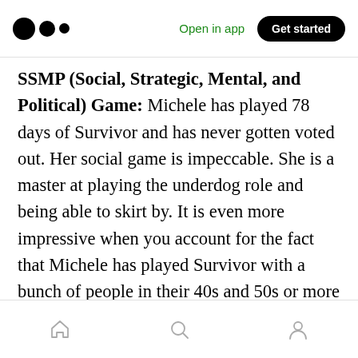Medium logo | Open in app | Get started
SSMP (Social, Strategic, Mental, and Political) Game: Michele has played 78 days of Survivor and has never gotten voted out. Her social game is impeccable. She is a master at playing the underdog role and being able to skirt by. It is even more impressive when you account for the fact that Michele has played Survivor with a bunch of people in their 40s and 50s or more on the geeky side of life, whereas on the Challenge, she is with the party people that she would be hanging out with on Saturday nights.
Home | Search | Profile